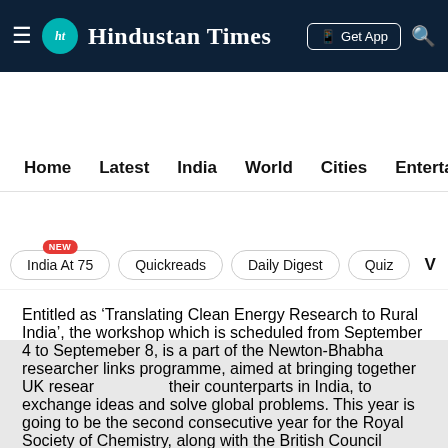Hindustan Times
Home  Latest  India  World  Cities  Entertainment
India At 75 NEW  Quickreads  Daily Digest  Quiz  V
[Figure (other): Gray advertisement banner placeholder]
Entitled as ‘Translating Clean Energy Research to Rural India’, the workshop which is scheduled from September 4 to Septemeber 8, is a part of the Newton-Bhabha researcher links programme, aimed at bringing together UK researchers and their counterparts in India, to exchange ideas and solve global problems. This year is going to be the second consecutive year for the Royal Society of Chemistry, along with the British Council through the Newton Fund, to be investing ₹2.5 crores, to deliver nine Newton Researcher Links workshops, the IISER spokesperson informed. The inaugural session for the workshop scheduled on September 4 at the Multi-purpose hall